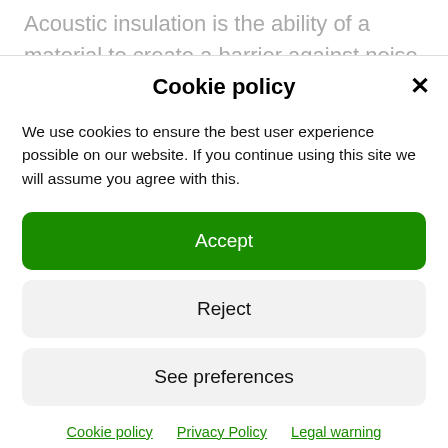Acoustic insulation is the ability of a material to create a barrier against noise. Thus preventing them from passing to the outside or inside, guaranteeing the comfort of the room, room or home. This property is
Cookie policy
We use cookies to ensure the best user experience possible on our website. If you continue using this site we will assume you agree with this.
Accept
Reject
See preferences
Cookie policy   Privacy Policy   Legal warning